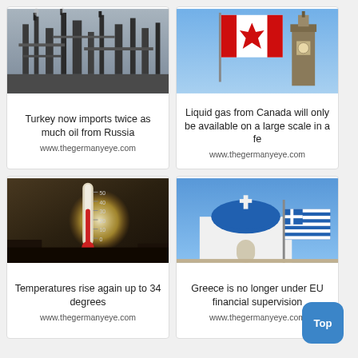[Figure (photo): Industrial oil refinery plant, grayscale photo with pipes and towers]
Turkey now imports twice as much oil from Russia
www.thegermanyeye.com
[Figure (photo): Canadian flag waving with a clock tower in background, bright blue sky]
Liquid gas from Canada will only be available on a large scale in a fe
www.thegermanyeye.com
[Figure (photo): Outdoor thermometer showing high temperature against bright backlit sky]
Temperatures rise again up to 34 degrees
www.thegermanyeye.com
[Figure (photo): White Greek Orthodox church with blue dome and Greek flag in Santorini]
Greece is no longer under EU financial supervision
www.thegermanyeye.com